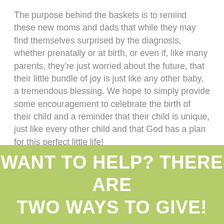The purpose behind the baskets is to remind these new moms and dads that while they may find themselves surprised by the diagnosis, whether prenatally or at birth, or even if, like many parents, they're just worried about the future, that their little bundle of joy is just like any other baby, a tremendous blessing. We hope to simply provide some encouragement to celebrate the birth of their child and a reminder that their child is unique, just like every other child and that God has a plan for this perfect little life!
WANT TO HELP? THERE ARE TWO WAYS TO GIVE!